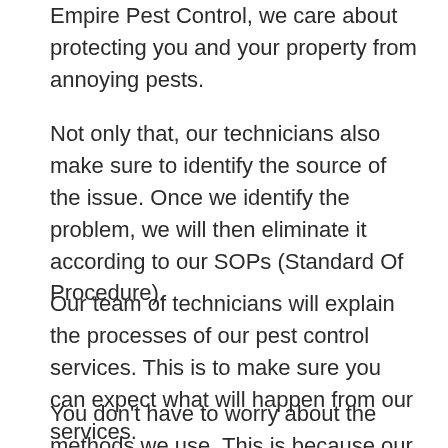Empire Pest Control, we care about protecting you and your property from annoying pests.
Not only that, our technicians also make sure to identify the source of the issue. Once we identify the problem, we will then eliminate it according to our SOPs (Standard Of Procedure).
Our team of technicians will explain the processes of our pest control services. This is to make sure you can expect what will happen from our services.
You don’t have to worry about the methods we use. This is because our